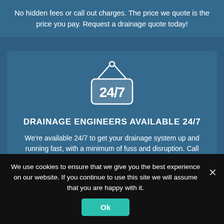No hidden fees or call out charges. The price we quote is the price you pay. Request a drainage quote today!
[Figure (illustration): A hanging sign icon showing '24/7' in bold white text on a rounded rectangular sign with a string and hook above it.]
DRAINAGE ENGINEERS AVAILABLE 24/7
We're available 24/7 to get your drainage system up and running fast, with a minimum of fuss and disruption. Call now!
We use cookies to ensure that we give you the best experience on our website. If you continue to use this site we will assume that you are happy with it.